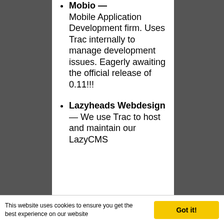Mobio — Mobile Application Development firm. Uses Trac internally to manage development issues. Eagerly awaiting the official release of 0.11!!!
Lazyheads Webdesign — We use Trac to host and maintain our LazyCMS
This website uses cookies to ensure you get the best experience on our website